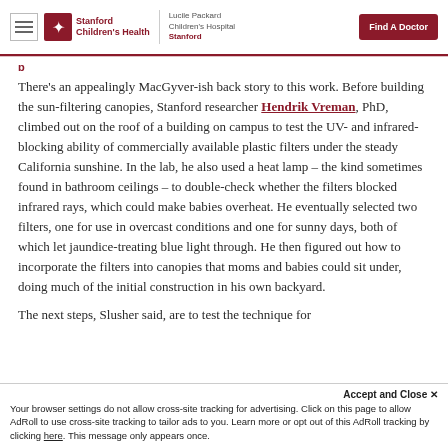Stanford Children's Health | Lucile Packard Children's Hospital Stanford | Find A Doctor
There's an appealingly MacGyver-ish back story to this work. Before building the sun-filtering canopies, Stanford researcher Hendrik Vreman, PhD, climbed out on the roof of a building on campus to test the UV- and infrared-blocking ability of commercially available plastic filters under the steady California sunshine. In the lab, he also used a heat lamp – the kind sometimes found in bathroom ceilings – to double-check whether the filters blocked infrared rays, which could make babies overheat. He eventually selected two filters, one for use in overcast conditions and one for sunny days, both of which let jaundice-treating blue light through. He then figured out how to incorporate the filters into canopies that moms and babies could sit under, doing much of the initial construction in his own backyard.
The next steps, Slusher said, are to test the technique for
Accept and Close ✕
Your browser settings do not allow cross-site tracking for advertising. Click on this page to allow AdRoll to use cross-site tracking to tailor ads to you. Learn more or opt out of this AdRoll tracking by clicking here. This message only appears once.